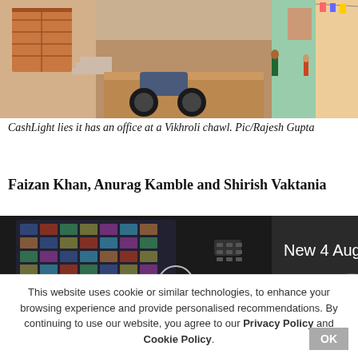[Figure (photo): Street scene in a Vikhroli chawl showing a narrow lane with a motorcycle parked, steps, colorful buildings, and people in the background]
CashLight lies it has an office at a Vikhroli chawl. Pic/Rajesh Gupta
Faizan Khan, Anurag Kamble and Shirish Vaktania
[Figure (photo): Dark background image showing a TV remote control and blurred screens with text 'New 4 Aug' in white]
This website uses cookie or similar technologies, to enhance your browsing experience and provide personalised recommendations. By continuing to use our website, you agree to our Privacy Policy and Cookie Policy.